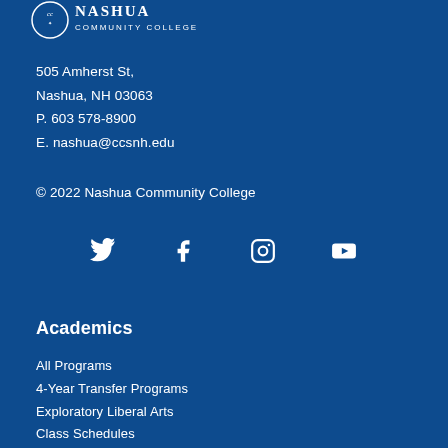[Figure (logo): Nashua Community College logo with circular emblem and text]
505 Amherst St,
Nashua, NH 03063
P. 603 578-8900
E. nashua@ccsnh.edu
© 2022 Nashua Community College
[Figure (infographic): Social media icons: Twitter, Facebook, Instagram, YouTube]
Academics
All Programs
4-Year Transfer Programs
Exploratory Liberal Arts
Class Schedules
Honors Program
Academic Calendar